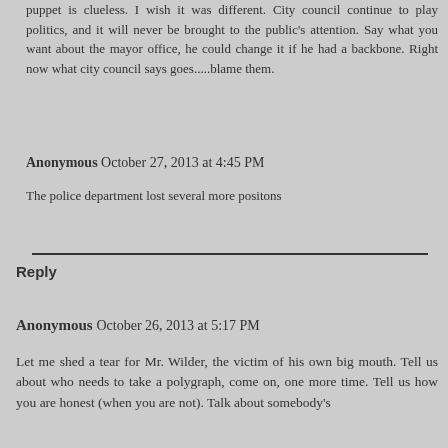puppet is clueless. I wish it was different. City council continue to play politics, and it will never be brought to the public's attention. Say what you want about the mayor office, he could change it if he had a backbone. Right now what city council says goes.....blame them.
Anonymous  October 27, 2013 at 4:45 PM
The police department lost several more positons
Reply
Anonymous  October 26, 2013 at 5:17 PM
Let me shed a tear for Mr. Wilder, the victim of his own big mouth. Tell us about who needs to take a polygraph, come on, one more time. Tell us how you are honest (when you are not). Talk about somebody's